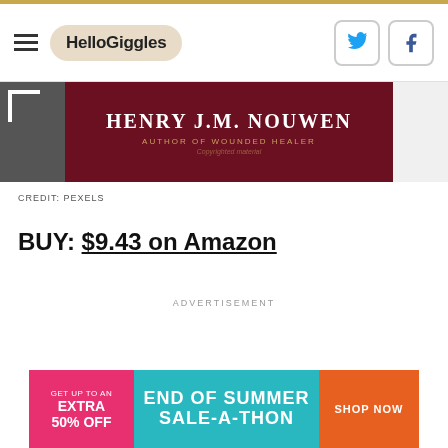HelloGiggles
[Figure (photo): Book cover showing Henry J.M. Nouwen, Author of Wounded Healer, on dark red background with copyright watermark]
CREDIT: PEXELS
BUY: $9.43 on Amazon
ADVERTISEMENT
[Figure (infographic): Bottom banner advertisement: Get up to an extra 50% off — End of Summer Sale-a-thon — Shop Now]